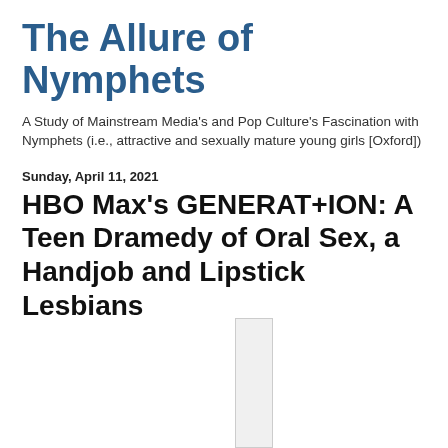The Allure of Nymphets
A Study of Mainstream Media's and Pop Culture's Fascination with Nymphets (i.e., attractive and sexually mature young girls [Oxford])
Sunday, April 11, 2021
HBO Max's GENERAT+ION: A Teen Dramedy of Oral Sex, a Handjob and Lipstick Lesbians
[Figure (other): Partial image visible at bottom of page, appears to be a vertical strip of a larger image]